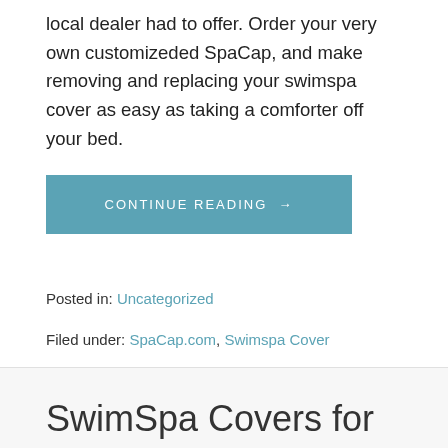local dealer had to offer. Order your very own customizeded SpaCap, and make removing and replacing your swimspa cover as easy as taking a comforter off your bed.
CONTINUE READING →
Posted in: Uncategorized
Filed under: SpaCap.com, Swimspa Cover
SwimSpa Covers for West Coast Spas